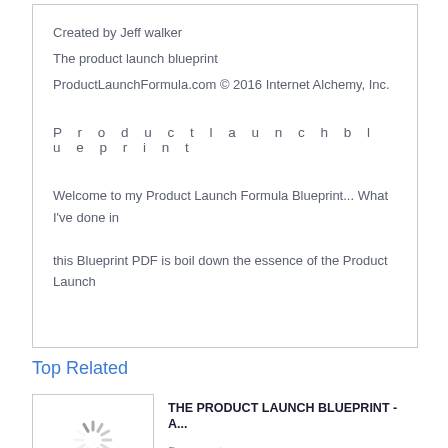Created by Jeff walker
The product launch blueprint
ProductLaunchFormula.com © 2016 Internet Alchemy, Inc.
P r o d u c t l a u n c h b l u e p r i n t
Welcome to my Product Launch Formula Blueprint... What I've done in this Blueprint PDF is boil down the essence of the Product Launch
Top Related
THE PRODUCT LAUNCH BLUEPRINT - A...
Documents